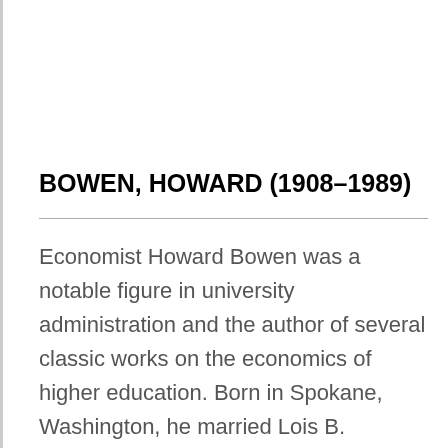BOWEN, HOWARD (1908–1989)
Economist Howard Bowen was a notable figure in university administration and the author of several classic works on the economics of higher education. Born in Spokane, Washington, he married Lois B. Schilling of Green Bay